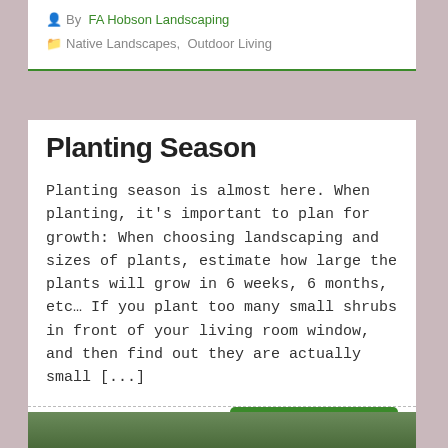By FA Hobson Landscaping
Native Landscapes, Outdoor Living
Planting Season
Planting season is almost here. When planting, it's important to plan for growth: When choosing landscaping and sizes of plants, estimate how large the plants will grow in 6 weeks, 6 months, etc… If you plant too many small shrubs in front of your living room window, and then find out they are actually small [...]
Take a Tour ▶
[Figure (photo): Partially visible outdoor/garden photo at the bottom of the page]